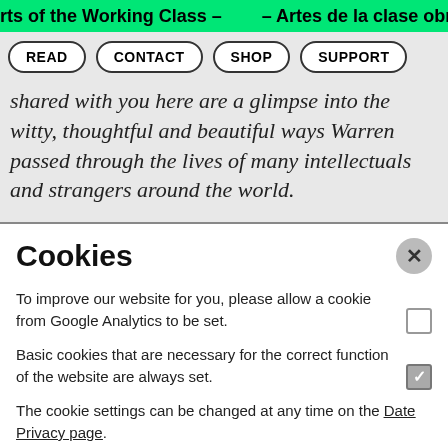rts of the Working Class –        – Artes de la clase obrera
[Figure (screenshot): Navigation bar with READ, CONTACT, SHOP, SUPPORT pill-shaped buttons on grey background]
would spend the night. The selection of letters shared with you here are a glimpse into the witty, thoughtful and beautiful ways Warren passed through the lives of many intellectuals and strangers around the world.
Cookies
To improve our website for you, please allow a cookie from Google Analytics to be set.
Basic cookies that are necessary for the correct function of the website are always set.
The cookie settings can be changed at any time on the Date Privacy page.